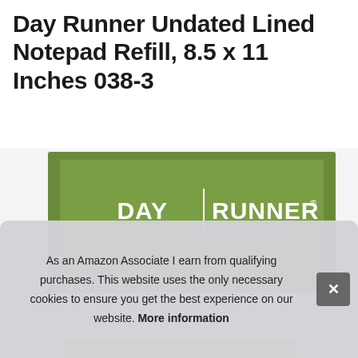Day Runner Undated Lined Notepad Refill, 8.5 x 11 Inches 038-3
[Figure (photo): Photo of Day Runner Notepad Refill product box in green with white branding text 'DAY | RUNNER design your day' and 'Item# 038-3 NOTEPAD', partially obscured by a cookie consent overlay]
As an Amazon Associate I earn from qualifying purchases. This website uses the only necessary cookies to ensure you get the best experience on our website. More information